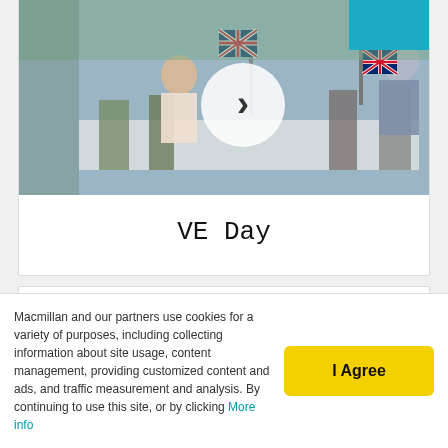[Figure (photo): Outdoor street party scene with people seated at long tables decorated with Union Jack flags. A video play button (circle with chevron) is overlaid in the center.]
VE Day
You may also like
[Figure (photo): Thumbnail photo of students in school uniforms, smiling, seated together.]
Word of the Day
carol
Macmillan and our partners use cookies for a variety of purposes, including collecting information about site usage, content management, providing customized content and ads, and traffic measurement and analysis. By continuing to use this site, or by clicking More info